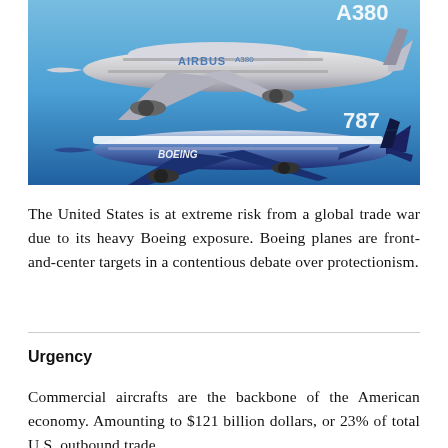[Figure (photo): Side profile comparison of two large commercial aircraft: an Airbus A380 (white with blue livery, labeled AIRBUS A380) on top, and a Boeing 787 Dreamliner (dark blue livery, labeled BOEING with 787 marking) below, both shown against a blue sky background.]
The United States is at extreme risk from a global trade war due to its heavy Boeing exposure. Boeing planes are front-and-center targets in a contentious debate over protectionism.
Urgency
Commercial aircrafts are the backbone of the American economy. Amounting to $121 billion dollars, or 23% of total U.S. outbound trade,